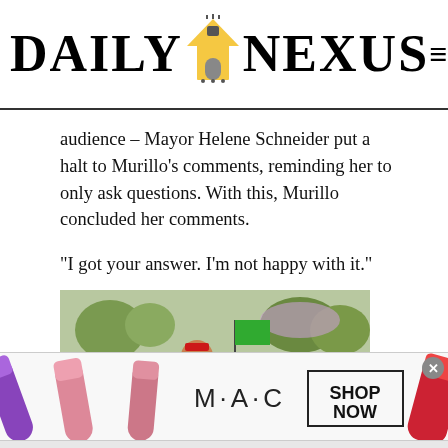DAILY NEXUS
audience – Mayor Helene Schneider put a halt to Murillo’s comments, reminding her to only ask questions. With this, Murillo concluded her comments.
“I got your answer. I’m not happy with it.”
[Figure (photo): Outdoor scene with a group of people wearing red shirts and red bandanas/headbands, some holding a green flag, with trees in the background]
[Figure (other): M·A·C cosmetics advertisement showing lipsticks in purple, pink, and red colors with text SHOP NOW]